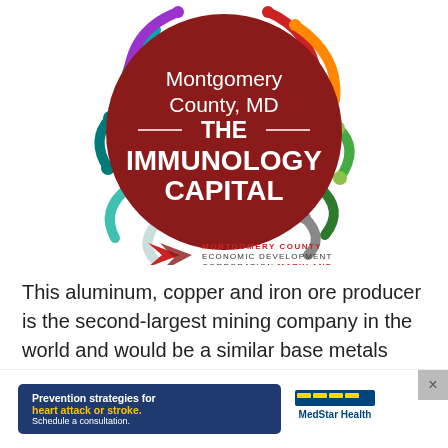[Figure (logo): Montgomery County, MD – THE IMMUNOLOGY CAPITAL circular logo with colorful curved lines/nodes around it, and the Montgomery County Economic Development Corporation Maryland logo below]
This aluminum, copper and iron ore producer is the second-largest mining company in the world and would be a similar base metals play to BHP. Both produce metals, such as copper, that are essential fuels
[Figure (infographic): Advertisement banner: Prevention strategies for heart attack or stroke. Schedule a consultation. MedStar Health logo.]